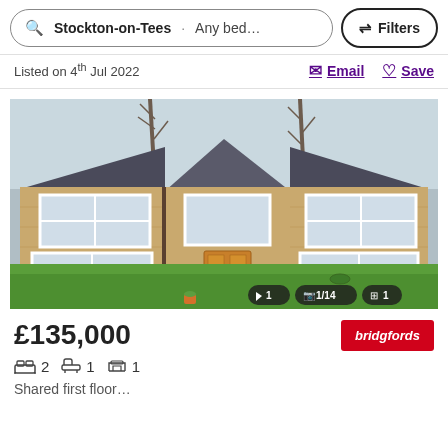Stockton-on-Tees · Any bed... Filters
Listed on 4th Jul 2022
Email  Save
[Figure (photo): Exterior photo of a two-storey stone/brick apartment building with white-framed windows, a central wooden front door, green lawn in foreground, bare trees behind. Image counter shows 1/14, 1 video, 1 floorplan.]
£135,000
2 bedrooms  1 bathroom  1 reception
Shared first floor...